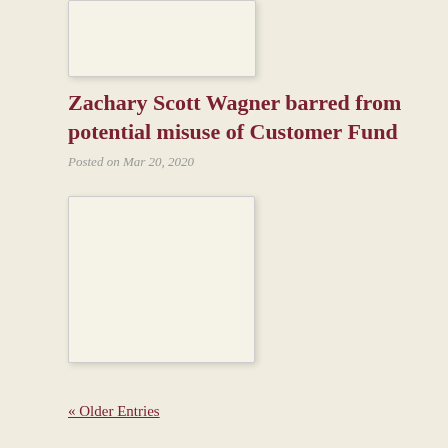[Figure (other): Partially visible image box at top of page]
Zachary Scott Wagner barred from potential misuse of Customer Fund
Posted on Mar 20, 2020
[Figure (other): Image box below the article title and date]
« Older Entries